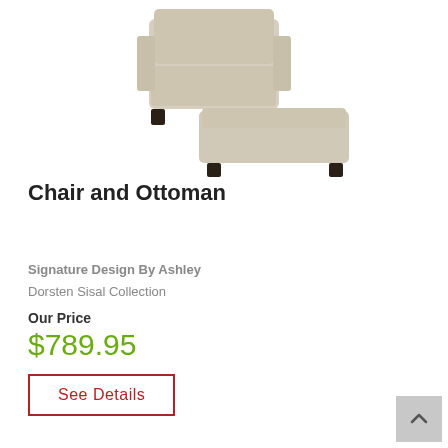[Figure (photo): Product photo of a beige/sisal colored chair and ottoman set with dark wood feet, photographed on a white background.]
Chair and Ottoman
Signature Design By Ashley
Dorsten Sisal Collection
Our Price
$789.95
See Details